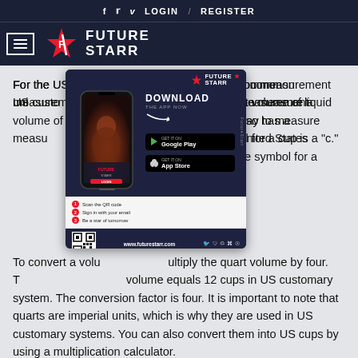f  t  v  LOGIN  /  REGISTER
[Figure (logo): Future Starr logo with star icon and wordmark on dark navy background]
For the US customary system, the most common measurement unit is the cup. It is the best way to measure a volume of liquids in the United States. The United States also has a measurement unit called the quart. The symbol for a cup is a "c."
[Figure (infographic): Future Starr app download advertisement showing a phone with a woman image, Google Play and App Store buttons, QR code, and step-by-step instructions. URL: www.futurestarr.com]
To convert a volume from quarts to cups, simply multiply the quart volume by four. Three quarts to cups: 3 quarts volume equals 12 cups in US customary system. The conversion factor is four. It is important to note that quarts are imperial units, which is why they are used in US customary systems. You can also convert them into US cups by using a multiplication calculator.
The conversion rule for measuring the volume of 3 Quarts in cup measurements is as easy as converting one quart to